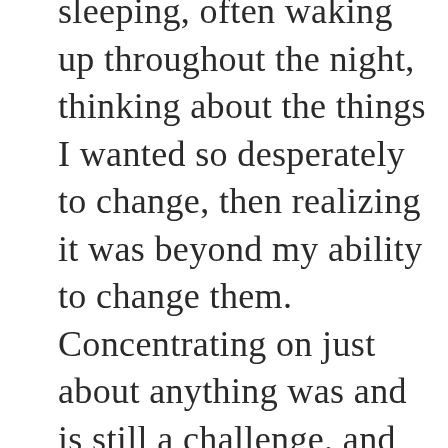sleeping, often waking up throughout the night, thinking about the things I wanted so desperately to change, then realizing it was beyond my ability to change them.  Concentrating on just about anything was and is still a challenge, and retaining, almost next to impossible. The lack of energy continues to tug at my body. Tears flow unexpectedly releasing the sorrow my heart feels; sometimes when I am alone and sometimes when I am